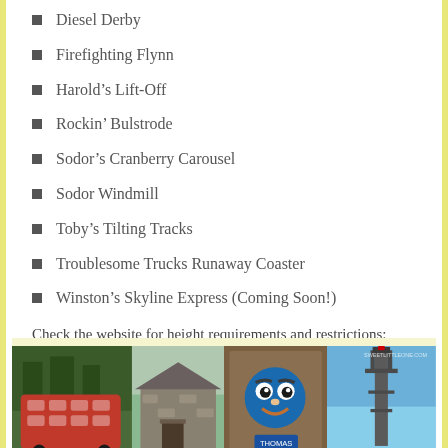Diesel Derby
Firefighting Flynn
Harold's Lift-Off
Rockin' Bulstrode
Sodor's Cranberry Carousel
Sodor Windmill
Toby's Tilting Tracks
Troublesome Trucks Runaway Coaster
Winston's Skyline Express (Coming Soon!)
Check the website for height requirements and restrictions: HERE (Avery is 36 inches tall and there were only two rides that she wasn't tall enough for)
[Figure (photo): Strip of four photos showing Thomas & Friends theme park attractions: a red double-decker bus, a stone building, a Thomas train face ride, and a tall structure against blue sky with sweetlittleone.com watermark]